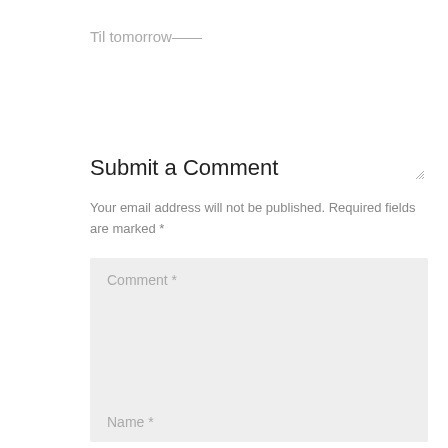Til tomorrow——
Submit a Comment
Your email address will not be published. Required fields are marked *
Comment *
Name *